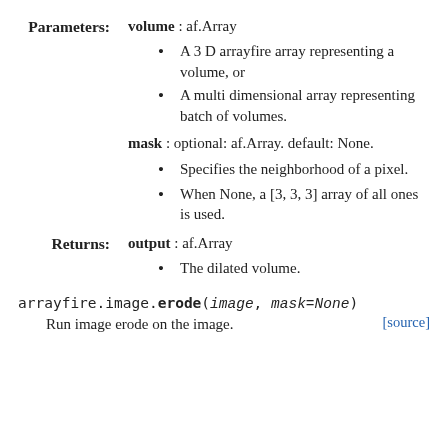Parameters: volume : af.Array
A 3 D arrayfire array representing a volume, or
A multi dimensional array representing batch of volumes.
mask : optional: af.Array. default: None.
Specifies the neighborhood of a pixel.
When None, a [3, 3, 3] array of all ones is used.
Returns: output : af.Array
The dilated volume.
arrayfire.image.erode(image, mask=None)
Run image erode on the image.
[source]